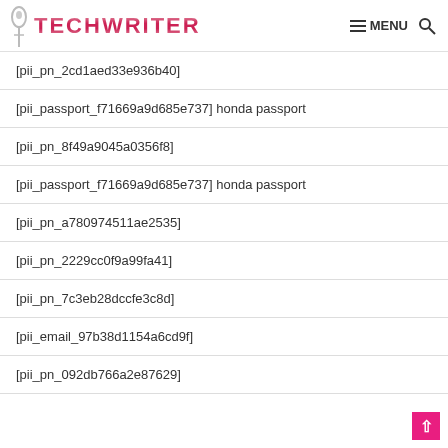TECHWRITER MENU
[pii_pn_2cd1aed33e936b40]
[pii_passport_f71669a9d685e737] honda passport
[pii_pn_8f49a9045a0356f8]
[pii_passport_f71669a9d685e737] honda passport
[pii_pn_a780974511ae2535]
[pii_pn_2229cc0f9a99fa41]
[pii_pn_7c3eb28dccfe3c8d]
[pii_email_97b38d1154a6cd9f]
[pii_pn_092db766a2e87629]